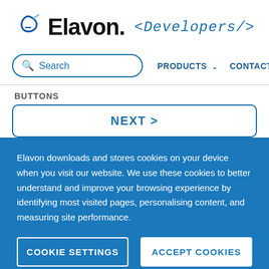[Figure (logo): Elavon logo with stylized 'A' swoosh graphic and text reading 'Elavon. <Developers/>' — Elavon in bold black, Developers in italic monospace blue]
Search | PRODUCTS ˅ | CONTACT
BUTTONS
NEXT >
Elavon downloads and stores cookies on your device when you visit our website. We use these cookies to better understand and improve your browsing experience by identifying most visited pages, personalising content, and measuring site performance.
COOKIE SETTINGS
ACCEPT COOKIES